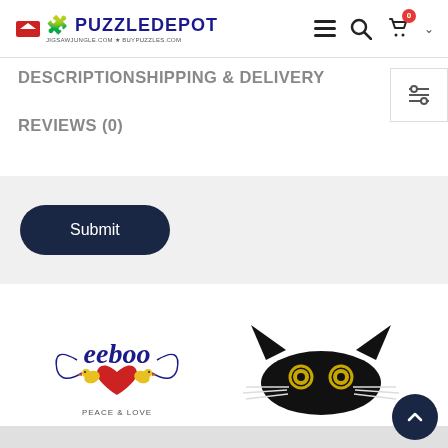PuzzleDepot
DESCRIPTIONSHIPPING & DELIVERY
REVIEWS (0)
[Figure (illustration): Submit button with dark navy rounded rectangle]
[Figure (logo): eeboo peace & love logo with two yellow birds and red heart]
[Figure (illustration): Black peeking cat with yellow eyes and whiskers]